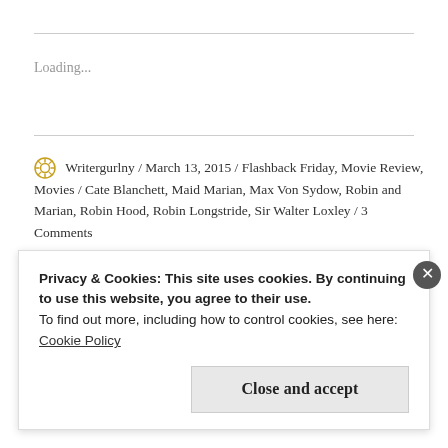Loading...
Writergurlny / March 13, 2015 / Flashback Friday, Movie Review, Movies / Cate Blanchett, Maid Marian, Max Von Sydow, Robin and Marian, Robin Hood, Robin Longstride, Sir Walter Loxley / 3 Comments
Privacy & Cookies: This site uses cookies. By continuing to use this website, you agree to their use.
To find out more, including how to control cookies, see here:
Cookie Policy
Close and accept